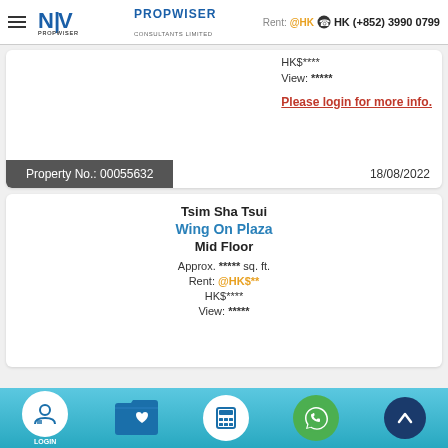Propwiser Consultants Limited | HK (+852) 3990 0799
Rent: @HK$ HKS**** View: ***** Please login for more info.
Property No.: 00055632  18/08/2022
Tsim Sha Tsui
Wing On Plaza
Mid Floor
Approx. ***** sq. ft.
Rent: @HK$**
HK$****
View: *****